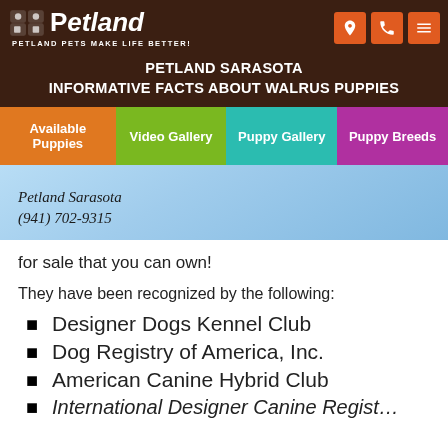Petland - Petland Pets Make Life Better!
PETLAND SARASOTA
INFORMATIVE FACTS ABOUT WALRUS PUPPIES
[Figure (screenshot): Navigation bar with Available Puppies (orange), Video Gallery (green), Puppy Gallery (teal), Puppy Breeds (purple) tabs, followed by a light blue watermark image with Petland Sarasota (941) 702-9315 cursive text]
for sale that you can own!
They have been recognized by the following:
Designer Dogs Kennel Club
Dog Registry of America, Inc.
American Canine Hybrid Club
International Designer Canine Register...